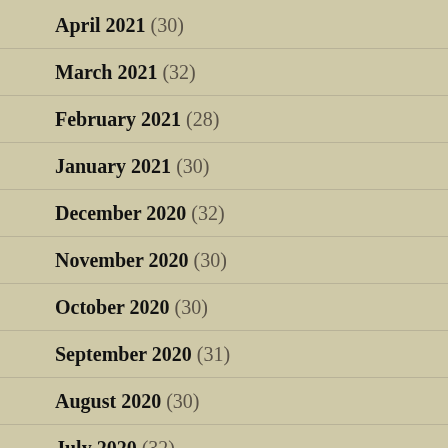April 2021 (30)
March 2021 (32)
February 2021 (28)
January 2021 (30)
December 2020 (32)
November 2020 (30)
October 2020 (30)
September 2020 (31)
August 2020 (30)
July 2020 (32)